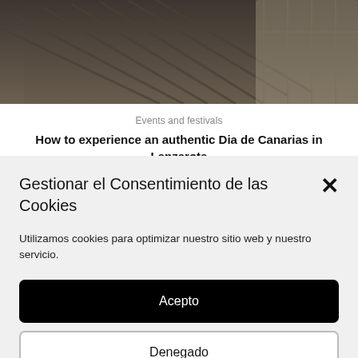[Figure (photo): Aerial or close-up photograph of dark volcanic/stone terrain with ridged or terraced landscape in Lanzarote, Canary Islands]
Events and festivals
How to experience an authentic Dia de Canarias in Lanzarote
Gestionar el Consentimiento de las Cookies
Utilizamos cookies para optimizar nuestro sitio web y nuestro servicio.
Acepto
Denegado
Preferencias
Cookies Policy  Privacy Policy  Legal notice